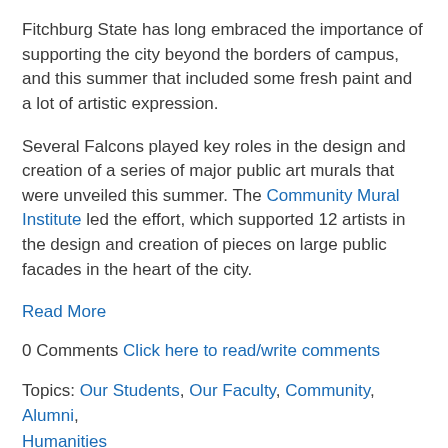Fitchburg State has long embraced the importance of supporting the city beyond the borders of campus, and this summer that included some fresh paint and a lot of artistic expression.
Several Falcons played key roles in the design and creation of a series of major public art murals that were unveiled this summer. The Community Mural Institute led the effort, which supported 12 artists in the design and creation of pieces on large public facades in the heart of the city.
Read More
0 Comments Click here to read/write comments
Topics: Our Students, Our Faculty, Community, Alumni, Humanities